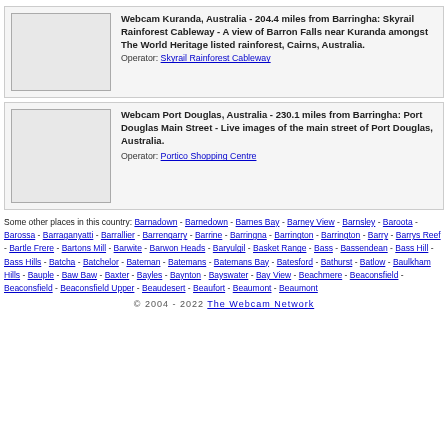[Figure (photo): Thumbnail image placeholder for Skyrail Rainforest Cableway webcam]
Webcam Kuranda, Australia - 204.4 miles from Barringha: Skyrail Rainforest Cableway - A view of Barron Falls near Kuranda amongst The World Heritage listed rainforest, Cairns, Australia. Operator: Skyrail Rainforest Cableway
[Figure (photo): Thumbnail image placeholder for Port Douglas Main Street webcam]
Webcam Port Douglas, Australia - 230.1 miles from Barringha: Port Douglas Main Street - Live images of the main street of Port Douglas, Australia. Operator: Portico Shopping Centre
Some other places in this country: Barnadown - Barnedown - Barnes Bay - Barney View - Barnsley - Baroota - Barossa - Barraganyatti - Barrallier - Barrengarry - Barrine - Barringna - Barrington - Barrington - Barry - Barrys Reef - Bartle Frere - Bartons Mill - Barwite - Barwon Heads - Baryulgil - Basket Range - Bass - Bassendean - Bass Hill - Bass Hills - Batcha - Batchelor - Bateman - Batemans - Batemans Bay - Batesford - Bathurst - Batlow - Baulkham Hills - Bauple - Baw Baw - Baxter - Bayles - Baynton - Bayswater - Bay View - Beachmere - Beaconsfield - Beaconsfield - Beaconsfield Upper - Beaudesert - Beaufort - Beaumont - Beaumont
© 2004 - 2022 The Webcam Network